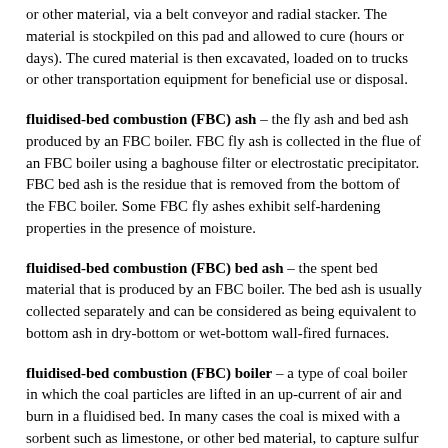or other material, via a belt conveyor and radial stacker. The material is stockpiled on this pad and allowed to cure (hours or days). The cured material is then excavated, loaded on to trucks or other transportation equipment for beneficial use or disposal.
fluidised-bed combustion (FBC) ash – the fly ash and bed ash produced by an FBC boiler. FBC fly ash is collected in the flue of an FBC boiler using a baghouse filter or electrostatic precipitator. FBC bed ash is the residue that is removed from the bottom of the FBC boiler. Some FBC fly ashes exhibit self-hardening properties in the presence of moisture.
fluidised-bed combustion (FBC) bed ash – the spent bed material that is produced by an FBC boiler. The bed ash is usually collected separately and can be considered as being equivalent to bottom ash in dry-bottom or wet-bottom wall-fired furnaces.
fluidised-bed combustion (FBC) boiler – a type of coal boiler in which the coal particles are lifted in an up-current of air and burn in a fluidised bed. In many cases the coal is mixed with a sorbent such as limestone, or other bed material, to capture sulfur oxides and reduce gaseous sulfur emissions. The fuel and bed material mixture is fluidised during the combustion process to allow complete